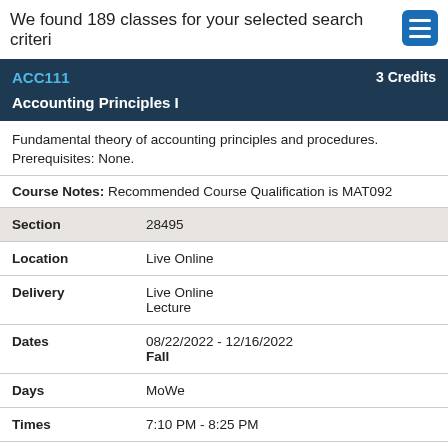We found 189 classes for your selected search criteria
ACC111   3 Credits
Accounting Principles I
Fundamental theory of accounting principles and procedures. Prerequisites: None.
Course Notes: Recommended Course Qualification is MAT092
| Field | Value |
| --- | --- |
| Section | 28495 |
| Location | Live Online |
| Delivery | Live Online
Lecture |
| Dates | 08/22/2022 - 12/16/2022
Fall |
| Days | MoWe |
| Times | 7:10 PM - 8:25 PM |